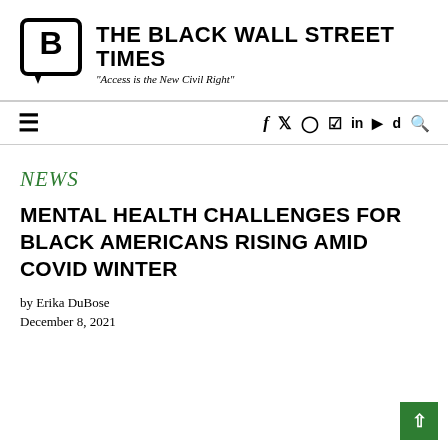THE BLACK WALL STREET TIMES — "Access is the New Civil Right"
NEWS
MENTAL HEALTH CHALLENGES FOR BLACK AMERICANS RISING AMID COVID WINTER
by Erika DuBose
December 8, 2021